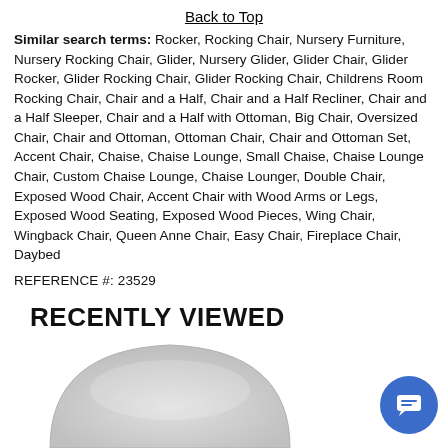Back to Top
Similar search terms: Rocker, Rocking Chair, Nursery Furniture, Nursery Rocking Chair, Glider, Nursery Glider, Glider Chair, Glider Rocker, Glider Rocking Chair, Glider Rocking Chair, Childrens Room Rocking Chair, Chair and a Half, Chair and a Half Recliner, Chair and a Half Sleeper, Chair and a Half with Ottoman, Big Chair, Oversized Chair, Chair and Ottoman, Ottoman Chair, Chair and Ottoman Set, Accent Chair, Chaise, Chaise Lounge, Small Chaise, Chaise Lounge Chair, Custom Chaise Lounge, Chaise Lounger, Double Chair, Exposed Wood Chair, Accent Chair with Wood Arms or Legs, Exposed Wood Seating, Exposed Wood Pieces, Wing Chair, Wingback Chair, Queen Anne Chair, Easy Chair, Fireplace Chair, Daybed
REFERENCE #: 23529
RECENTLY VIEWED
[Figure (photo): Partial view of a light gray upholstered chair, showing the top back portion of the chair against a white background.]